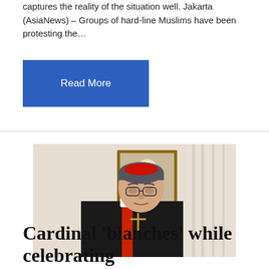captures the reality of the situation well. Jakarta (AsiaNews) – Groups of hard-line Muslims have been protesting the…
Read More
[Figure (photo): A cardinal dressed in black and red vestments with a pectoral cross, seated in a room with a framed portrait of Pope Benedict XVI on the wall behind him and white curtains to the right.]
Cardinal 'blanches' while celebrating